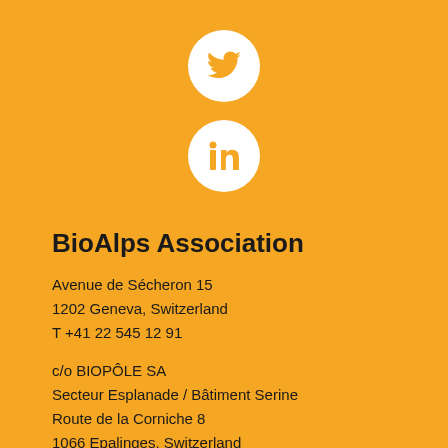[Figure (logo): Twitter bird icon in white circle on orange background]
[Figure (logo): LinkedIn 'in' icon in white circle on orange background]
BioAlps Association
Avenue de Sécheron 15
1202 Geneva, Switzerland
T +41 22 545 12 91
c/o BIOPÔLE SA
Secteur Esplanade / Bâtiment Serine
Route de la Corniche 8
1066 Epalinges, Switzerland
Contact